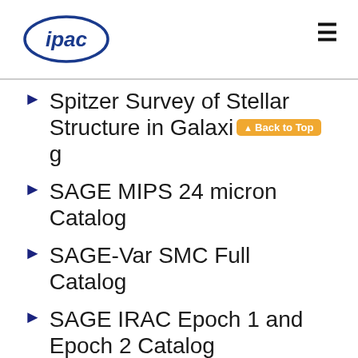ipac [logo] [hamburger menu]
Spitzer Survey of Stellar Structure in Galaxies
SAGE MIPS 24 micron Catalog
SAGE-Var SMC Full Catalog
SAGE IRAC Epoch 1 and Epoch 2 Catalog
SAGE IRAC Offset Position Catalog
SAGE MIPS 24 micron Full List
SAGE IRAC Matched Epoch